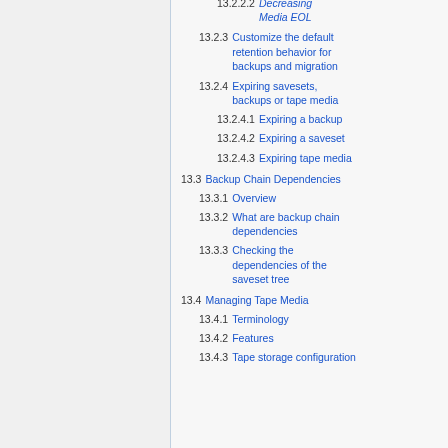13.2.2.2 Decreasing Media EOL
13.2.3 Customize the default retention behavior for backups and migration
13.2.4 Expiring savesets, backups or tape media
13.2.4.1 Expiring a backup
13.2.4.2 Expiring a saveset
13.2.4.3 Expiring tape media
13.3 Backup Chain Dependencies
13.3.1 Overview
13.3.2 What are backup chain dependencies
13.3.3 Checking the dependencies of the saveset tree
13.4 Managing Tape Media
13.4.1 Terminology
13.4.2 Features
13.4.3 Tape storage configuration